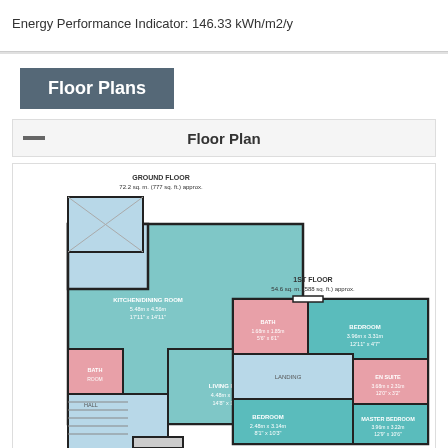Energy Performance Indicator: 146.33 kWh/m2/y
Floor Plans
Floor Plan
[Figure (engineering-diagram): Floor plan diagram showing Ground Floor (72.2 sq.m / 777 sq.ft approx) with kitchen/dining room, living room, bathroom, and hall; and 1st Floor (54.6 sq.m / 588 sq.ft approx) with master bedroom, bedroom, bedroom, bathroom, landing, and en suite. Rooms colored in teal/blue, pink for bathrooms/en suites, light blue for halls/landing.]